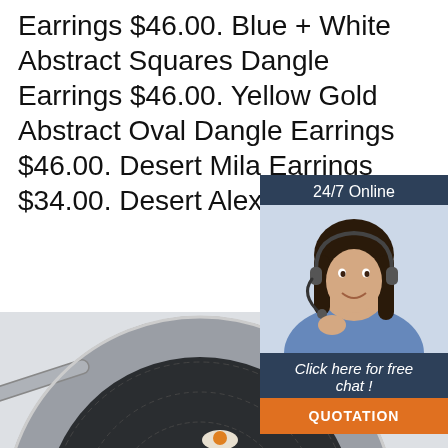Earrings $46.00. Blue + White Abstract Squares Dangle Earrings $46.00. Yellow Gold Abstract Oval Dangle Earrings $46.00. Desert Mila Earrings $34.00. Desert Alex Earrings …
[Figure (screenshot): Orange 'Get Price' button]
[Figure (screenshot): 24/7 Online chat widget with agent photo, 'Click here for free chat!' text, and orange QUOTATION button]
[Figure (photo): Stainless steel non-stick wok/pan with honeycomb pattern interior and long handle, with orange 'TOP' logo watermark in bottom right]